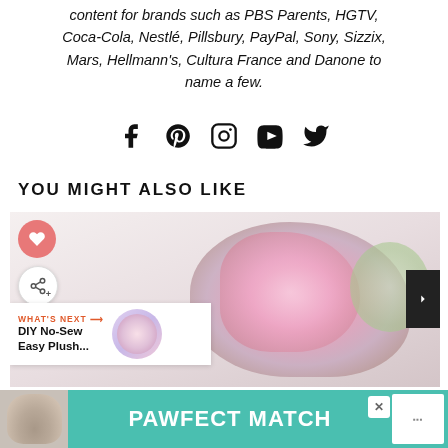content for brands such as PBS Parents, HGTV, Coca-Cola, Nestlé, Pillsbury, PayPal, Sony, Sizzix, Mars, Hellmann's, Cultura France and Danone to name a few.
[Figure (infographic): Social media icons: Facebook, Pinterest, Instagram, YouTube, Twitter]
YOU MIGHT ALSO LIKE
[Figure (photo): Blog post card with pink flowers arrangement and gold keychain. Heart button and share button on left. Scroll button on right. 'What's Next' overlay with text 'DIY No-Sew Easy Plush...' and thumbnail.]
[Figure (infographic): Advertisement banner: PAWFECT MATCH with dog image on teal/green background, close button X, and logo on right.]